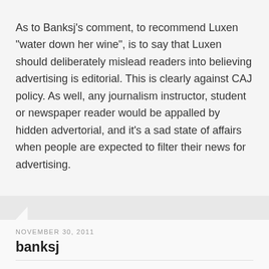As to Banksj's comment, to recommend Luxen "water down her wine", is to say that Luxen should deliberately mislead readers into believing advertising is editorial. This is clearly against CAJ policy. As well, any journalism instructor, student or newspaper reader would be appalled by hidden advertorial, and it's a sad state of affairs when people are expected to filter their news for advertising.
NOVEMBER 30, 2011
banksj
Yes, you're right Steve. I
Yes, you're right Steve. I needed to expand on that comment water/wine metaphor. Here is what I meant: Micah will find as a freelancer, she is going to be faced with having to sometimes write copy that comes very close, if it isn't outright, to being